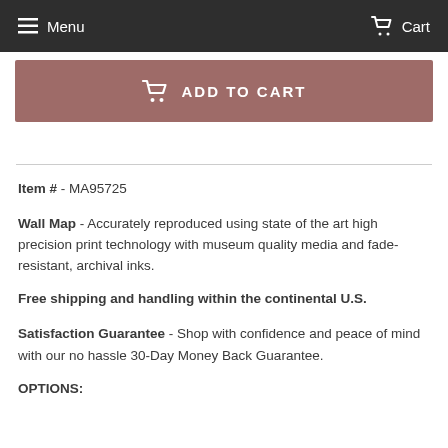Menu   Cart
[Figure (screenshot): Add to Cart button with cart icon on mauve/rose background]
Item # - MA95725
Wall Map - Accurately reproduced using state of the art high precision print technology with museum quality media and fade-resistant, archival inks.
Free shipping and handling within the continental U.S.
Satisfaction Guarantee - Shop with confidence and peace of mind with our no hassle 30-Day Money Back Guarantee.
OPTIONS: